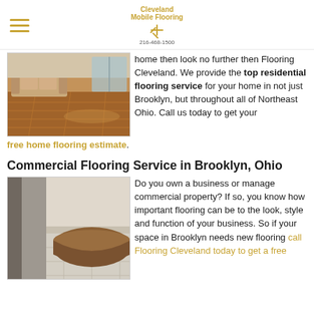Cleveland Mobile Flooring 216-468-1500
[Figure (photo): Interior room with hardwood flooring, sofa, and glass door in background]
home then look no further then Flooring Cleveland. We provide the top residential flooring service for your home in not just Brooklyn, but throughout all of Northeast Ohio. Call us today to get your free home flooring estimate.
Commercial Flooring Service in Brooklyn, Ohio
[Figure (photo): Commercial reception area with light-colored flooring and curved wood reception desk]
Do you own a business or manage commercial property? If so, you know how important flooring can be to the look, style and function of your business. So if your space in Brooklyn needs new flooring call Flooring Cleveland today to get a free